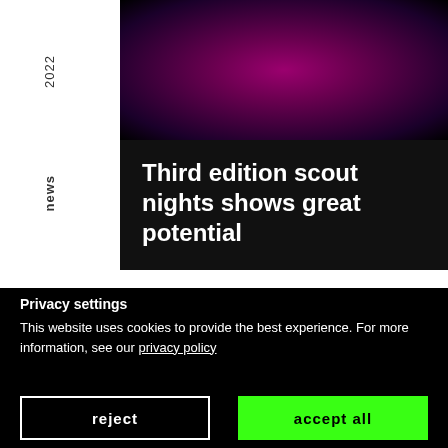[Figure (photo): Blurred purple/magenta background photo, top section of a webpage]
2022
Third edition scout nights shows great potential
news
[Figure (photo): Blurred olive/brown background photo, second card area]
Privacy settings
This website uses cookies to provide the best experience. For more information, see our privacy policy
reject
accept all